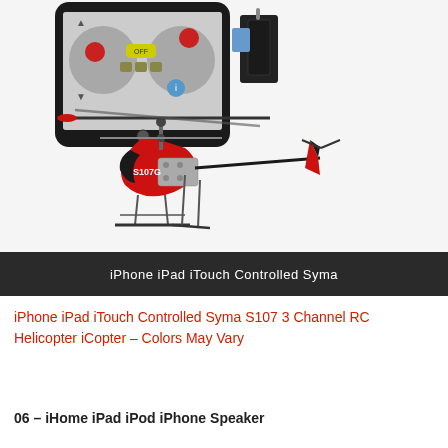[Figure (photo): Red Syma S107G RC helicopter shown next to an iPhone displaying a remote control app with joystick interface. The helicopter is red and black with silver rotor mechanics, and a small black accessory device is shown to the right of the iPhone.]
iPhone iPad iTouch Controlled Syma
iPhone iPad iTouch Controlled Syma S107 3 Channel RC Helicopter iCopter – Colors May Vary
06 – iHome iPad iPod iPhone Speaker